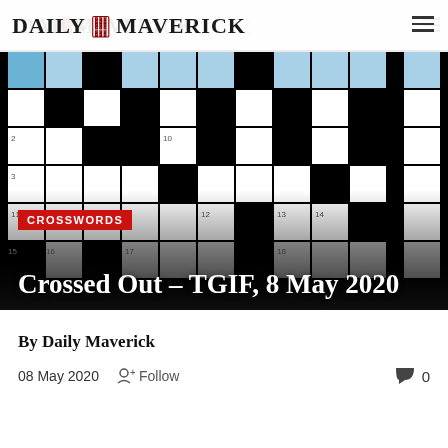DAILY MAVERICK
[Figure (screenshot): Crossword puzzle grid with black and white squares; some squares highlighted in blue at top row. Grid shows numbered squares including 2, 3, 10, 11, 12, 13, 14, 15, 16, 17, 18.]
CROSSWORDS
Crossed Out – TGIF, 8 May 2020
By Daily Maverick
08 May 2020   + Follow   0